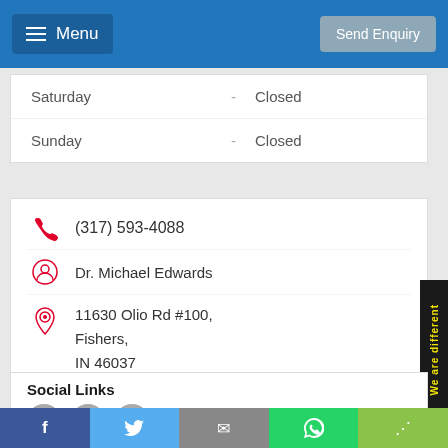Menu | Send Enquiry
Saturday - Closed
Sunday - Closed
(317) 593-4088
Dr. Michael Edwards
11630 Olio Rd #100, Fishers, IN 46037
Visit Website
View On Map
Social Links
Facebook | Twitter | Email | WhatsApp | Share